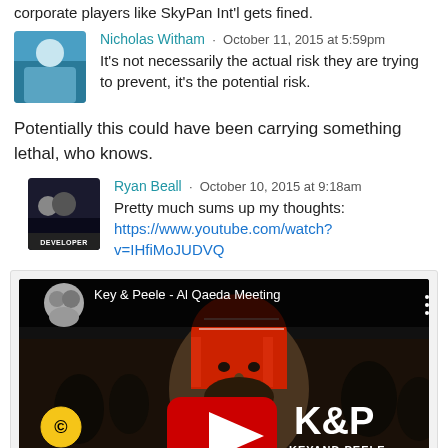corporate players like SkyPan Int'l gets fined.
Nicholas Witham · October 11, 2015 at 5:59pm
It's not necessarily the actual risk they are trying to prevent, it's the potential risk.
Potentially this could have been carrying something lethal, who knows.
Ryan Beall · October 10, 2015 at 9:18am
Pretty much sums up my thoughts: https://www.youtube.com/watch?v=IHfiMoJUDVQ
[Figure (screenshot): YouTube video thumbnail for 'Key & Peele - Al Qaeda Meeting' showing a man in a red and white keffiyeh. The YouTube play button logo is visible along with the Comedy Central logo and 'K&P KEY AND PEELE' text.]